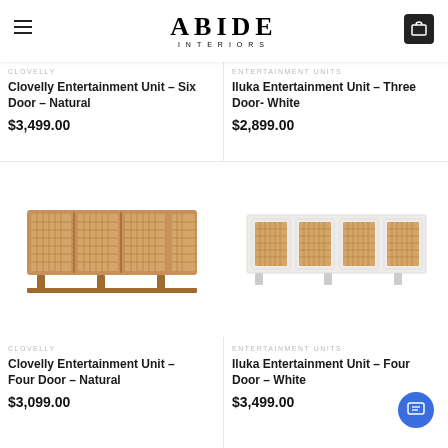ABIDE INTERIORS
CLOVELLY
Clovelly Entertainment Unit – Six Door – Natural
$3,499.00
ENTERTAINMENT UNITS
Iluka Entertainment Unit – Three Door- White
$2,899.00
[Figure (photo): Clovelly Entertainment Unit – Four Door – Natural, a low wide natural wood cabinet with rattan cane doors]
CLOVELLY
Clovelly Entertainment Unit – Four Door – Natural
$3,099.00
[Figure (photo): Iluka Entertainment Unit – Four Door – White, a low wide white cabinet with rattan cane door panels]
ENTERTAINMENT UNITS
Iluka Entertainment Unit – Four Door – White
$3,499.00